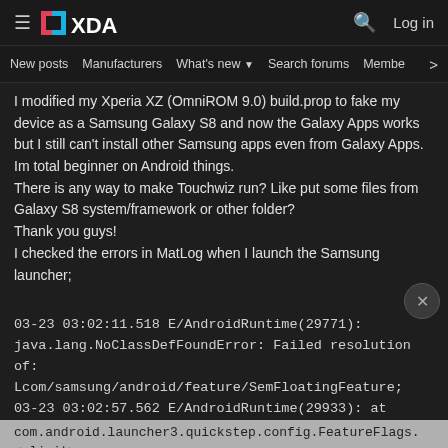≡ XDA  🔍 Log in
New posts   Manufacturers   What's new ▼   Search forums   Membe   >
I modified my Xperia XZ (OmniROM 9.0) build.prop to fake my device as a Samsung Galaxy S8 and now the Galaxy Apps works but I still can't install other Samsung apps even from Galaxy Apps.
Im total beginner on Android things.
There is any way to make Touchwiz run? Like put some files from Galaxy S8 system/framework or other folder?
Thank you guys!
I checked the errors in MatLog when I launch the Samsung launcher;
03-23 03:02:11.518 E/AndroidRuntime(29771):
java.lang.NoClassDefFoundError: Failed resolution of: Lcom/samsung/android/feature/SemFloatingFeature;
03-23 03:02:57.562 E/AndroidRuntime(29933): at
com.android.launcher3.quickstep.config.FeatureFlags.<clinit> (FeatureFlags.java:47)
[Figure (screenshot): Hulu Disney+ ESPN+ GET THE DISNEY BUNDLE advertisement banner. Incl. Hulu (ad-supported) or Hulu (No Ads). Access content from each service separately. ©2021 Disney and its related entities.]
I can co